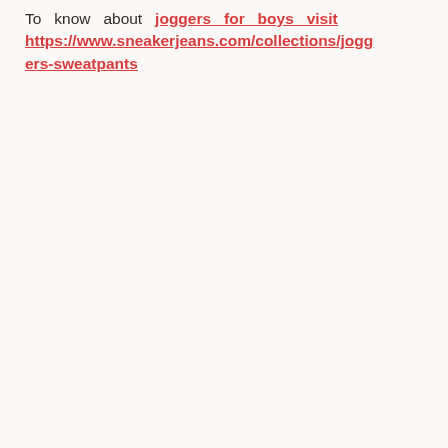To know about joggers for boys visit https://www.sneakerjeans.com/collections/joggers-sweatpants